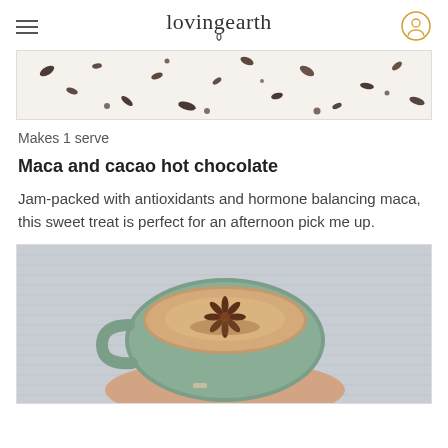lovingearth
[Figure (photo): Top-down view of cacao nibs scattered on a white surface]
Makes 1 serve
Maca and cacao hot chocolate
Jam-packed with antioxidants and hormone balancing maca, this sweet treat is perfect for an afternoon pick me up.
[Figure (photo): Hands holding a ceramic mug of hot chocolate topped with a star anise, wearing a grey knit sweater]